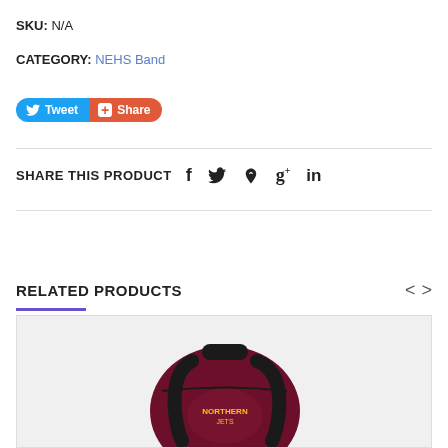SKU: N/A
CATEGORY: NEHS Band
[Figure (screenshot): Social sharing buttons: blue Tweet button and orange Share button]
SHARE THIS PRODUCT with social icons: f (Facebook), Twitter bird, Pinterest, Google+, LinkedIn
RELATED PRODUCTS
[Figure (photo): A maroon/dark red backpack with black leather accents, straps, and a logo patch on the front]